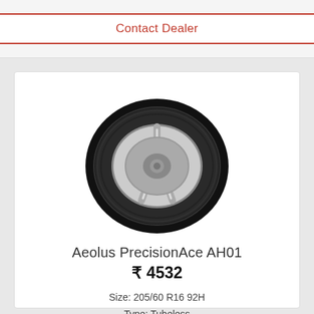Contact Dealer
[Figure (photo): Photo of Aeolus PrecisionAce AH01 tire with chrome alloy wheel, front-facing view on white background]
Aeolus PrecisionAce AH01
₹ 4532
Size: 205/60 R16 92H
Type: Tubeless
See Details